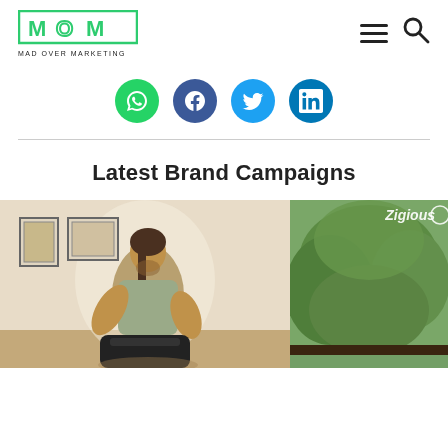[Figure (logo): MOM — Mad Over Marketing logo in green with hamburger menu and search icon]
[Figure (infographic): Social sharing buttons: WhatsApp (green), Facebook (dark blue), Twitter (light blue), LinkedIn (blue)]
Latest Brand Campaigns
[Figure (photo): Split image: left side shows a man in a sleeveless shirt working out/leaning over a black bag in an indoor room with framed wall art; right side shows outdoor greenery with 'Zigious' watermark text]